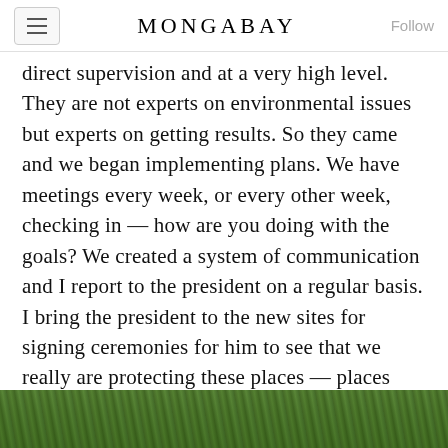MONGABAY
direct supervision and at a very high level. They are not experts on environmental issues but experts on getting results. So they came and we began implementing plans. We have meetings every week, or every other week, checking in — how are you doing with the goals? We created a system of communication and I report to the president on a regular basis. I bring the president to the new sites for signing ceremonies for him to see that we really are protecting these places — places that are important in his heart.
[Figure (photo): Bottom strip showing green foliage/vegetation, partially visible at the bottom of the page]